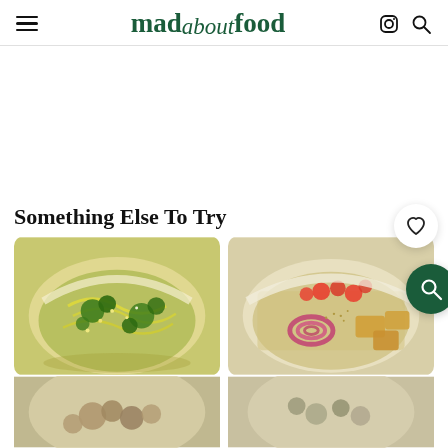mad about food — navigation header with hamburger menu, Instagram icon, and search icon
Something Else To Try
78
[Figure (photo): Bowl of pasta with broccoli and green herb sauce, viewed from above]
[Figure (photo): Bowl with quinoa or grain, cherry tomatoes, pickled red onions, and golden tofu pieces]
[Figure (photo): Partial view of a bowl with mushrooms and other ingredients (bottom strip)]
[Figure (photo): Partial view of another food bowl (bottom strip)]
292
52